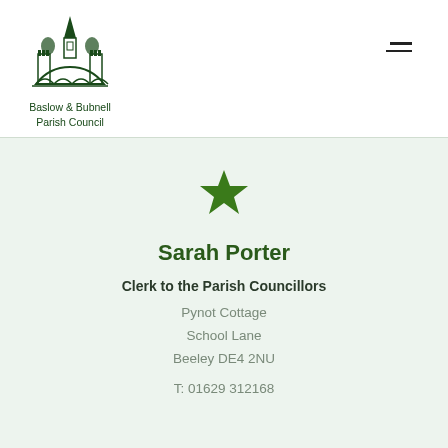[Figure (logo): Baslow & Bubnell Parish Council logo — green illustration of a castle/church and bridge]
Baslow & Bubnell Parish Council
[Figure (illustration): Green five-pointed star icon]
Sarah Porter
Clerk to the Parish Councillors
Pynot Cottage
School Lane
Beeley DE4 2NU
T: 01629 312168